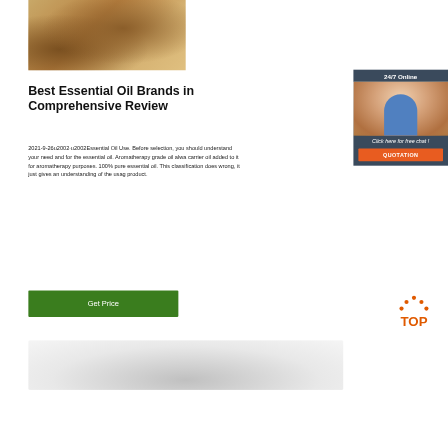[Figure (photo): Photo of wooden soap bars and dried plant roots on sandy/brown background]
Best Essential Oil Brands in Comprehensive Review
2021-9-26u2002·u2002Essential Oil Use. Before selection, you should understand your need and for the essential oil. Aromatherapy grade oil alwa carrier oil added to it for aromatherapy purposes. 100% pure essential oil. This classification does wrong, it just gives an understanding of the usag product.
[Figure (photo): Chat widget with woman wearing headset, 24/7 Online header, Click here for free chat, QUOTATION button]
[Figure (other): Green Get Price button]
[Figure (logo): TOP logo with orange dots arranged in arch above orange TOP text]
[Figure (photo): Bottom photo partially visible, grey/white gradient]